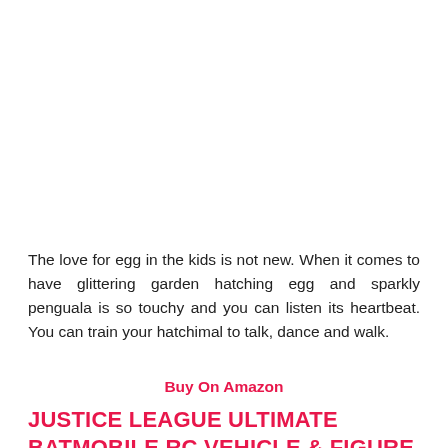The love for egg in the kids is not new. When it comes to have glittering garden hatching egg and sparkly penguala is so touchy and you can listen its heartbeat. You can train your hatchimal to talk, dance and walk.
Buy On Amazon
JUSTICE LEAGUE ULTIMATE BATMOBILE RC VEHICLE & FIGURE